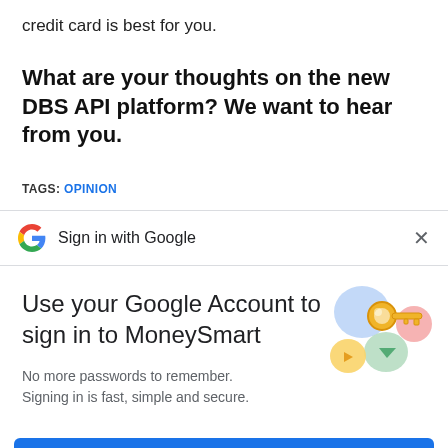credit card is best for you.
What are your thoughts on the new DBS API platform? We want to hear from you.
TAGS: OPINION
Sign in with Google
Use your Google Account to sign in to MoneySmart
No more passwords to remember.
Signing in is fast, simple and secure.
[Figure (illustration): Colorful Google key illustration with circular shapes in blue, yellow, green, and red/pink, with a golden key in the center]
Continue